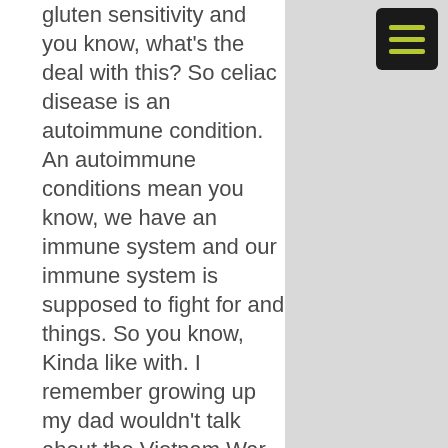gluten sensitivity and you know, what's the deal with this? So celiac disease is an autoimmune condition. An autoimmune conditions mean you know, we have an immune system and our immune system is supposed to fight for and things. So you know, Kinda like with. I remember growing up my dad wouldn't talk about the Vietnam War and how many of the soldiers in Vietnam would, you know, we didn't know who were the good guys, who is the bad guys?